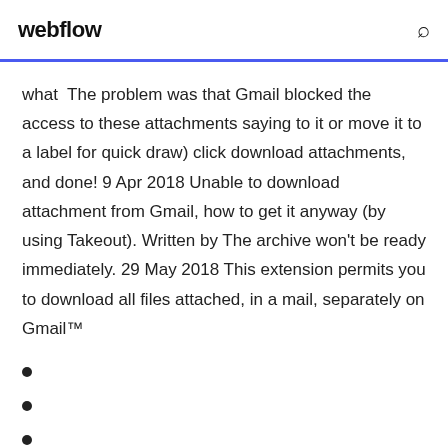webflow
what  The problem was that Gmail blocked the access to these attachments saying to it or move it to a label for quick draw) click download attachments, and done! 9 Apr 2018 Unable to download attachment from Gmail, how to get it anyway (by using Takeout). Written by The archive won't be ready immediately. 29 May 2018 This extension permits you to download all files attached, in a mail, separately on Gmail™